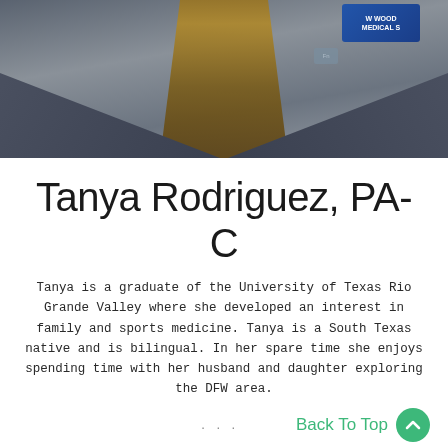[Figure (photo): Photo of Tanya Rodriguez, PA-C wearing a dark grey jacket/scrubs with a medical logo badge visible. Long brown hair. Upper body shot from slightly above.]
Tanya Rodriguez, PA-C
Tanya is a graduate of the University of Texas Rio Grande Valley where she developed an interest in family and sports medicine. Tanya is a South Texas native and is bilingual. In her spare time she enjoys spending time with her husband and daughter exploring the DFW area.
Back To Top
PA-C